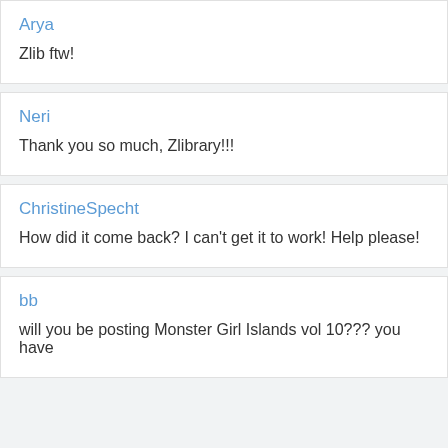Arya
Zlib ftw!
Neri
Thank you so much, Zlibrary!!!
ChristineSpecht
How did it come back? I can't get it to work! Help please!
bb
will you be posting Monster Girl Islands vol 10??? you have